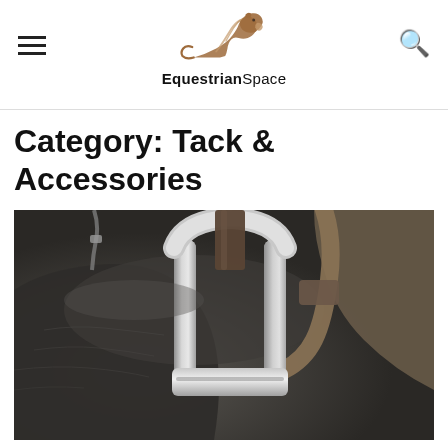EquestrianSpace
Category: Tack & Accessories
[Figure (photo): Close-up photograph of a leather English saddle with a silver stirrup iron and brown leather stirrup leather strap against dark leather background]